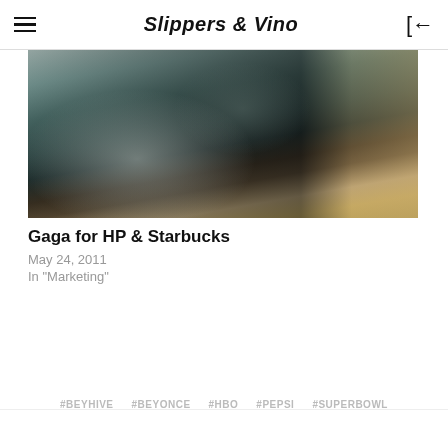Slippers & Vino
[Figure (photo): A close-up photo of what appears to be a sculpture or artwork, rendered in dark muted tones of grey-green and brown, with a figure visible on the left and a dark doorway or architectural element on the right.]
Gaga for HP & Starbucks
May 24, 2011
In "Marketing"
#BEYHIVE   #BEYONCE   #HBO   #PEPSI   #SUPERBOWL